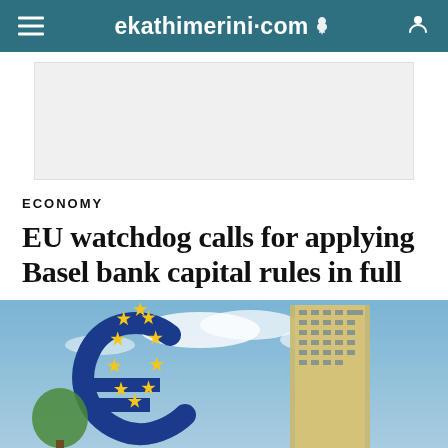ekathimerini.com
[Figure (other): Advertisement placeholder — light gray rectangle]
ECONOMY
EU watchdog calls for applying Basel bank capital rules in full
[Figure (photo): Photo of the Euro symbol sculpture in front of the European Central Bank tower in Frankfurt, blue sky with clouds in background]